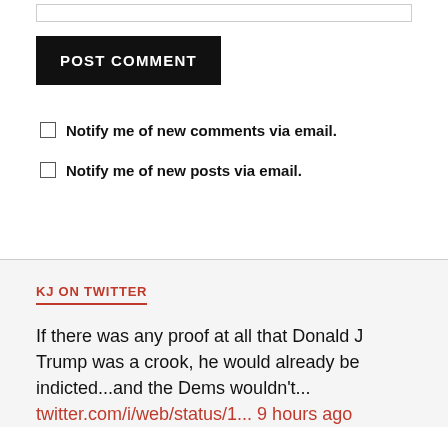[input field]
POST COMMENT
Notify me of new comments via email.
Notify me of new posts via email.
KJ ON TWITTER
If there was any proof at all that Donald J Trump was a crook, he would already be indicted...and the Dems wouldn't... twitter.com/i/web/status/1... 9 hours ago